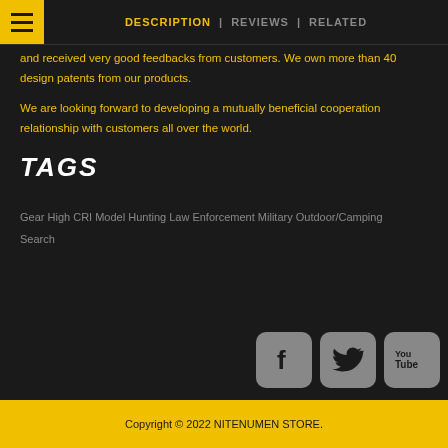DESCRIPTION | REVIEWS | RELATED
and received very good feedbacks from customers. We own more than 40 design patents from our products. We are looking forward to developing a mutually beneficial cooperation relationship with customers all over the world.
TAGS
Gear High CRI Model Hunting Law Enforcement Military Outdoor/Camping Search
[Figure (infographic): Three social media icons: Facebook (f), Twitter (bird), YouTube (You Tube logo) rendered as gray rounded square buttons]
Copyright © 2022 NITENUMEN STORE.